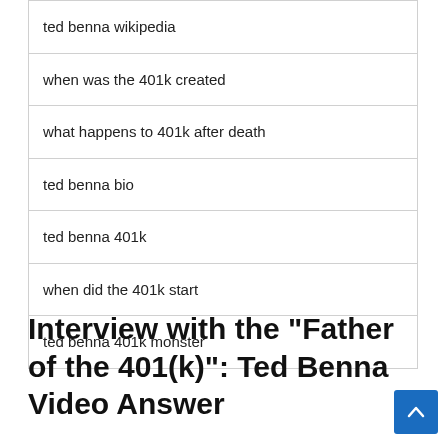| ted benna wikipedia |
| when was the 401k created |
| what happens to 401k after death |
| ted benna bio |
| ted benna 401k |
| when did the 401k start |
| ted benna 401k monster |
Interview with the "Father of the 401(k)": Ted Benna Video Answer